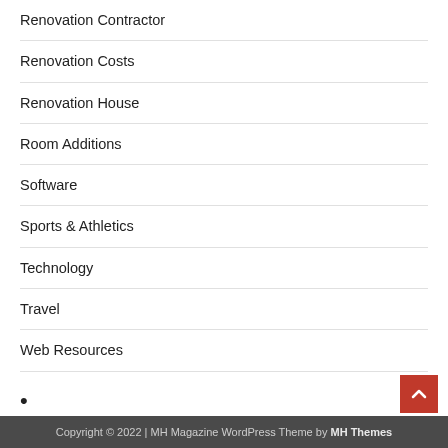Renovation Contractor
Renovation Costs
Renovation House
Room Additions
Software
Sports & Athletics
Technology
Travel
Web Resources
•
Partner links
Copyright © 2022 | MH Magazine WordPress Theme by MH Themes